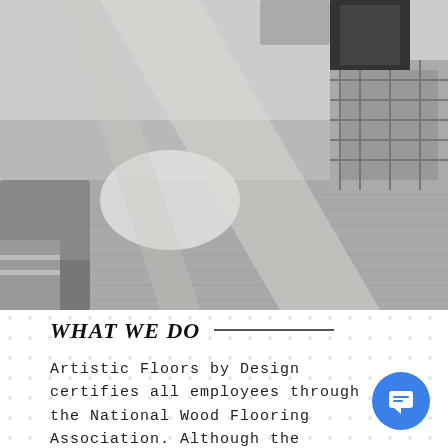[Figure (photo): Interior room photo showing gray hardwood flooring with sunlight shadows cast across it, a gray sofa, a white fur rug, a patterned rug near the door, and a dark front door in the background.]
WHAT WE DO
Artistic Floors by Design certifies all employees through the National Wood Flooring Association. Although the...